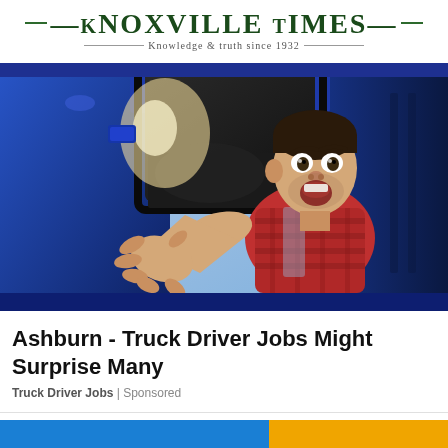Knoxville Times — Knowledge & truth since 1932
[Figure (photo): A truck driver leaning out of the window of a large blue semi-truck cab, looking surprised with mouth open and hand extended outward toward the camera, sunlight streaming from behind.]
Ashburn - Truck Driver Jobs Might Surprise Many
Truck Driver Jobs | Sponsored